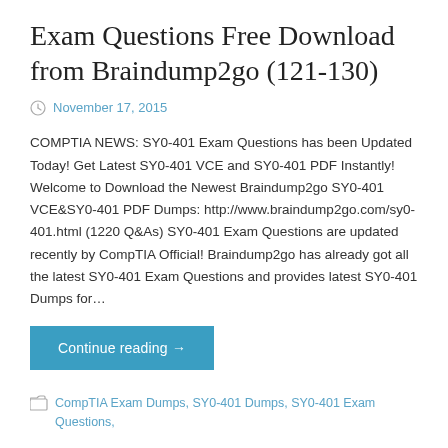Exam Questions Free Download from Braindump2go (121-130)
November 17, 2015
COMPTIA NEWS: SY0-401 Exam Questions has been Updated Today! Get Latest SY0-401 VCE and SY0-401 PDF Instantly! Welcome to Download the Newest Braindump2go SY0-401 VCE&SY0-401 PDF Dumps: http://www.braindump2go.com/sy0-401.html (1220 Q&As) SY0-401 Exam Questions are updated recently by CompTIA Official! Braindump2go has already got all the latest SY0-401 Exam Questions and provides latest SY0-401 Dumps for…
Continue reading →
CompTIA Exam Dumps, SY0-401 Dumps, SY0-401 Exam Questions,